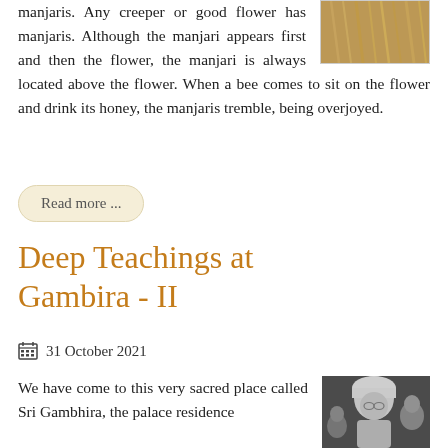manjaris. Any creeper or good flower has manjaris. Although the manjari appears first and then the flower, the manjari is always located above the flower. When a bee comes to sit on the flower and drink its honey, the manjaris tremble, being overjoyed.
[Figure (photo): Close-up photo of golden/wheat colored plant material, possibly dried flowers or grass]
Read more ...
Deep Teachings at Gambira - II
31 October 2021
We have come to this very sacred place called Sri Gambhira, the palace residence
[Figure (photo): Black and white photo of an elderly person wearing white head covering, with other people visible in background]